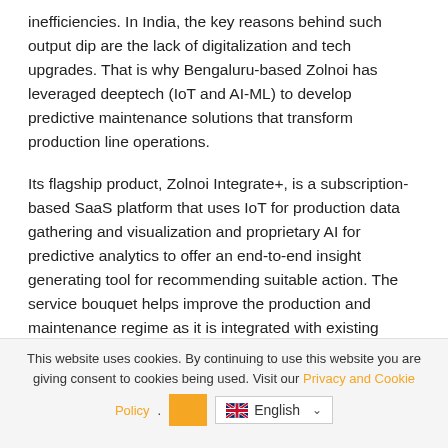inefficiencies. In India, the key reasons behind such output dip are the lack of digitalization and tech upgrades. That is why Bengaluru-based Zolnoi has leveraged deeptech (IoT and AI-ML) to develop predictive maintenance solutions that transform production line operations.
Its flagship product, Zolnoi Integrate+, is a subscription-based SaaS platform that uses IoT for production data gathering and visualization and proprietary AI for predictive analytics to offer an end-to-end insight generating tool for recommending suitable action. The service bouquet helps improve the production and maintenance regime as it is integrated with existing processes to enable data-driven decision-making.
This website uses cookies. By continuing to use this website you are giving consent to cookies being used. Visit our Privacy and Cookie Policy .